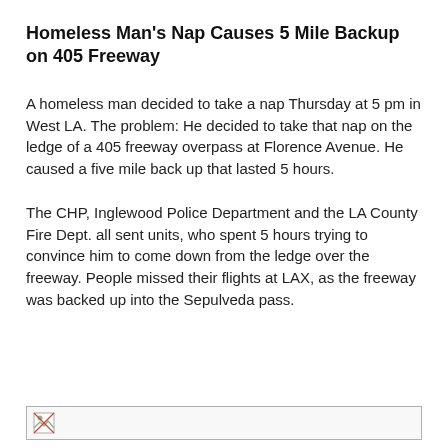Homeless Man's Nap Causes 5 Mile Backup on 405 Freeway
A homeless man decided to take a nap Thursday at 5 pm in West LA. The problem: He decided to take that nap on the ledge of a 405 freeway overpass at Florence Avenue. He caused a five mile back up that lasted 5 hours.
The CHP, Inglewood Police Department and the LA County Fire Dept. all sent units, who spent 5 hours trying to convince him to come down from the ledge over the freeway. People missed their flights at LAX, as the freeway was backed up into the Sepulveda pass.
[Figure (photo): Broken image placeholder at bottom of page]